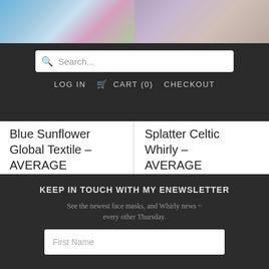[Figure (photo): Two product images at top: left shows colorful textile bracelet, right shows Celtic-style wrap bracelet]
LOG IN  CART (0)  CHECKOUT
Blue Sunflower Global Textile – AVERAGE
Sold Out
Splatter Celtic Whirly – AVERAGE
Sold Out
KEEP IN TOUCH WITH MY ENEWSLETTER
See the newest face masks, and Whirly news ~ every other Thursday.
First Name